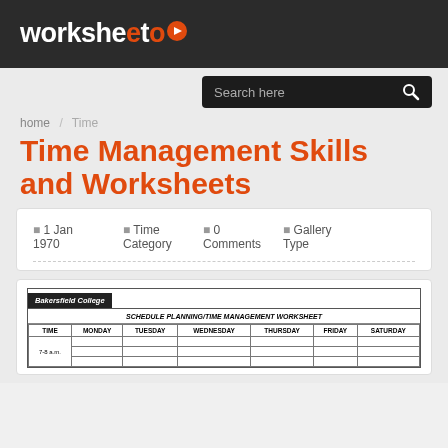worksheeto
Search here
home / Time
Time Management Skills and Worksheets
1 Jan 1970   Time Category   0 Comments   Gallery Type
[Figure (screenshot): Bakersfield College Schedule Planning/Time Management Worksheet table preview with columns: TIME, MONDAY, TUESDAY, WEDNESDAY, THURSDAY, FRIDAY, SATURDAY and row starting with 7-8 a.m.]